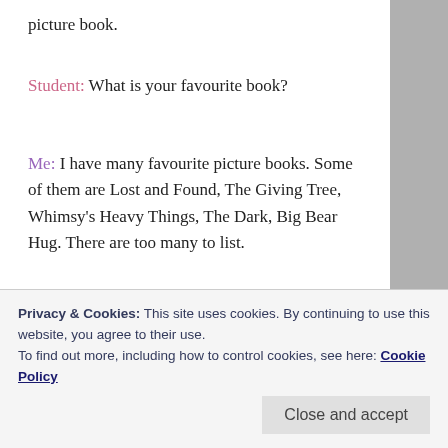picture book.
Student: What is your favourite book?
Me: I have many favourite picture books. Some of them are Lost and Found, The Giving Tree, Whimsy's Heavy Things, The Dark, Big Bear Hug. There are too many to list.
Student: How do you write so well?
Me: (awww) When I write I try to imagine myself as the character in my story and build everything that happens around their feelings and experiences. For example, when
Privacy & Cookies: This site uses cookies. By continuing to use this website, you agree to their use.
To find out more, including how to control cookies, see here: Cookie Policy